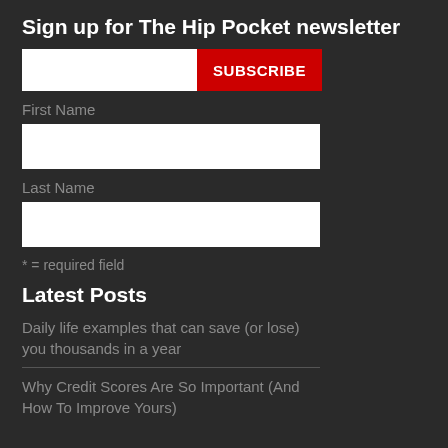Sign up for The Hip Pocket newsletter
SUBSCRIBE
First Name
Last Name
* = required field
Latest Posts
Daily life examples that can save (or lose) you thousands in a year
Why Credit Scores Are So Important (And How To Improve Yours)